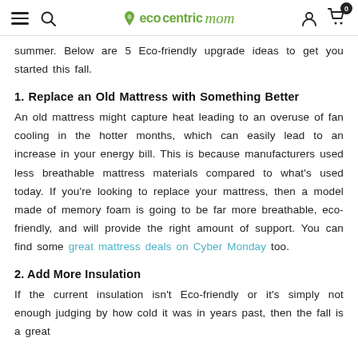ecocentric mom — navigation header with hamburger menu, search, logo, user icon, cart (0)
summer. Below are 5 Eco-friendly upgrade ideas to get you started this fall.
1. Replace an Old Mattress with Something Better
An old mattress might capture heat leading to an overuse of fan cooling in the hotter months, which can easily lead to an increase in your energy bill. This is because manufacturers used less breathable mattress materials compared to what's used today. If you're looking to replace your mattress, then a model made of memory foam is going to be far more breathable, eco-friendly, and will provide the right amount of support. You can find some great mattress deals on Cyber Monday too.
2. Add More Insulation
If the current insulation isn't Eco-friendly or it's simply not enough judging by how cold it was in years past, then the fall is a great